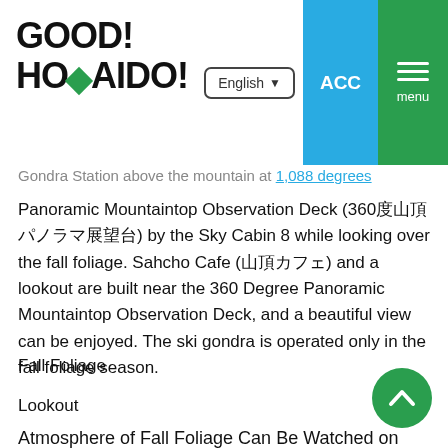GOOD! HOMAIDO!
Gondra Station above the mountain at 1,088 degrees Panoramic Mountaintop Observation Deck (360度山頂パノラマ展望台) by the Sky Cabin 8 while looking over the fall foliage. Sahcho Cafe (山頂カフェ) and a lookout are built near the 360 Degree Panoramic Mountaintop Observation Deck, and a beautiful view can be enjoyed. The ski gondra is operated only in the fall foliage season.
Fall Foliage
Lookout
Atmosphere of Fall Foliage Can Be Watched on Youtube
Movie of Fall Foliage